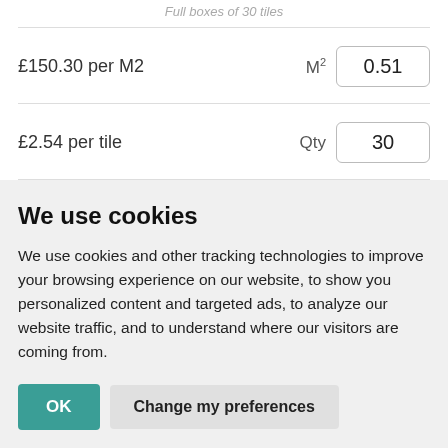Full boxes of 30 tiles
£150.30 per M2   M²   0.51
£2.54 per tile   Qty   30
We use cookies
We use cookies and other tracking technologies to improve your browsing experience on our website, to show you personalized content and targeted ads, to analyze our website traffic, and to understand where our visitors are coming from.
OK   Change my preferences